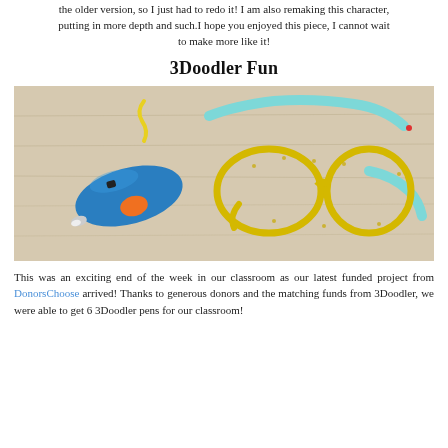the older version, so I just had to redo it! I am also remaking this character, putting in more depth and such. I hope you enjoyed this piece, I cannot wait to make more like it!
3Doodler Fun
[Figure (photo): Photo of a blue 3Doodler pen with an orange button next to a pair of yellow 3D-printed glasses frames with light blue arms, on a wooden surface.]
This was an exciting end of the week in our classroom as our latest funded project from DonorsChoose arrived! Thanks to generous donors and the matching funds from 3Doodler, we were able to get 6 3Doodler pens for our classroom!